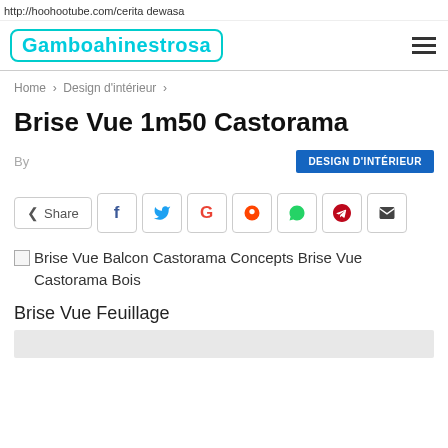http://hoohootube.com/cerita dewasa
[Figure (logo): Gamboahinestrosa logo with teal/cyan bubble-style text in a rounded rectangle border]
Home › Design d'intérieur ›
Brise Vue 1m50 Castorama
By
DESIGN D'INTÉRIEUR
[Figure (infographic): Social share bar: Share button, Facebook, Twitter, Google+, Reddit, WhatsApp, Pinterest, Email icons]
Brise Vue Balcon Castorama Concepts Brise Vue Castorama Bois
Brise Vue Feuillage